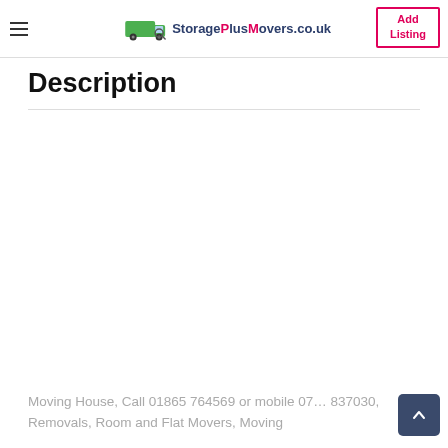StoragePlusMovers.co.uk | Add Listing
Description
Moving House, Call 01865 764569 or mobile 07... 837030, Removals, Room and Flat Movers, Moving